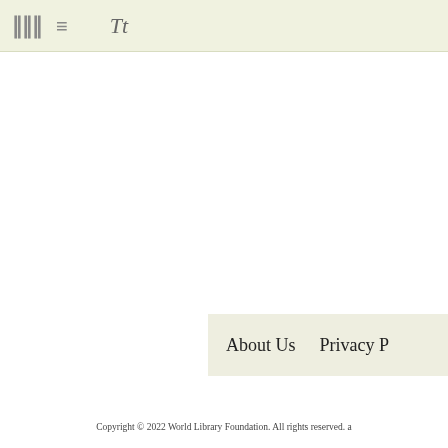Ill ≡  Tt
About Us   Privacy P
Copyright © 2022 World Library Foundation. All rights reserved. a